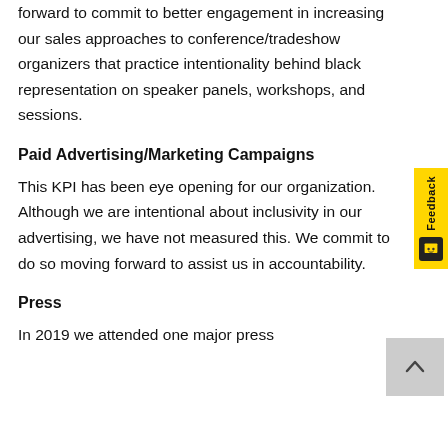forward to commit to better engagement in increasing our sales approaches to conference/tradeshow organizers that practice intentionality behind black representation on speaker panels, workshops, and sessions.
Paid Advertising/Marketing Campaigns
This KPI has been eye opening for our organization. Although we are intentional about inclusivity in our advertising, we have not measured this. We commit to do so moving forward to assist us in accountability.
Press
In 2019 we attended one major press